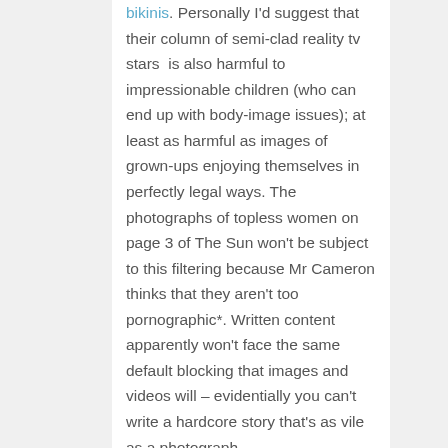bikinis. Personally I'd suggest that their column of semi-clad reality tv stars  is also harmful to impressionable children (who can end up with body-image issues); at least as harmful as images of grown-ups enjoying themselves in perfectly legal ways. The photographs of topless women on page 3 of The Sun won't be subject to this filtering because Mr Cameron thinks that they aren't too pornographic*. Written content apparently won't face the same default blocking that images and videos will – evidentially you can't write a hardcore story that's as vile as a photograph.
I guess it's quite a subjective thing then, David! Computers are bad at